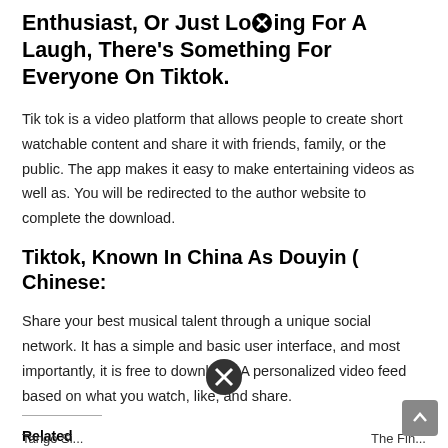Enthusiast, Or Just Looking For A Laugh, There's Something For Everyone On Tiktok.
Tik tok is a video platform that allows people to create short watchable content and share it with friends, family, or the public. The app makes it easy to make entertaining videos as well as. You will be redirected to the author website to complete the download.
Tiktok, Known In China As Douyin ( Chinese:
Share your best musical talent through a unique social network. It has a simple and basic user interface, and most importantly, it is free to download. A personalized video feed based on what you watch, like, and share.
Related